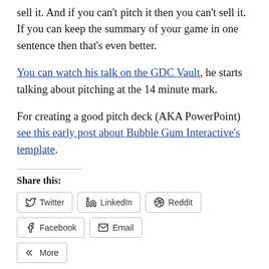sell it. And if you can't pitch it then you can't sell it. If you can keep the summary of your game in one sentence then that's even better.
You can watch his talk on the GDC Vault, he starts talking about pitching at the 14 minute mark.
For creating a good pitch deck (AKA PowerPoint) see this early post about Bubble Gum Interactive's template.
Share this:
[Figure (other): Social share buttons: Twitter, LinkedIn, Reddit, Facebook, Email, More]